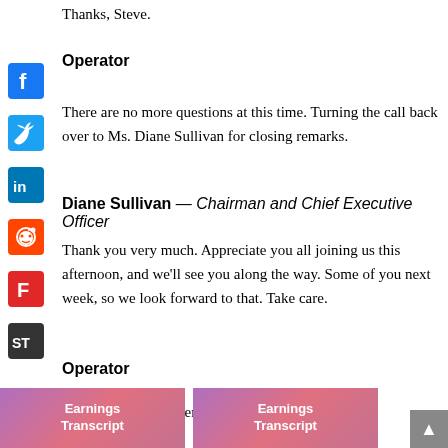Thanks, Steve.
Operator
There are no more questions at this time. Turning the call back over to Ms. Diane Sullivan for closing remarks.
Diane Sullivan — Chairman and Chief Executive Officer
Thank you very much. Appreciate you all joining us this afternoon, and we'll see you along the way. Some of you next week, so we look forward to that. Take care.
Operator
[Operator Closing Remarks]
[Figure (other): Two Earnings Transcript thumbnail images at bottom of page]
[Figure (other): Social media share buttons: Facebook, Twitter, LinkedIn, Reddit, Flipboard, ShareThis]